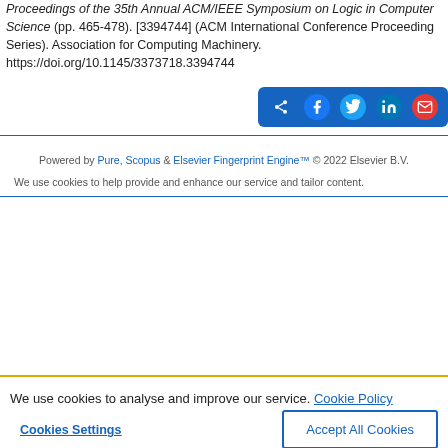Proceedings of the 35th Annual ACM/IEEE Symposium on Logic in Computer Science (pp. 465-478). [3394744] (ACM International Conference Proceeding Series). Association for Computing Machinery. https://doi.org/10.1145/3373718.3394744
[Figure (other): Share buttons bar with icons for share, Facebook, Twitter, LinkedIn, and email on a blue background]
Powered by Pure, Scopus & Elsevier Fingerprint Engine™ © 2022 Elsevier B.V.
We use cookies to help provide and enhance our service and tailor content.
We use cookies to analyse and improve our service. Cookie Policy
Cookies Settings
Accept All Cookies